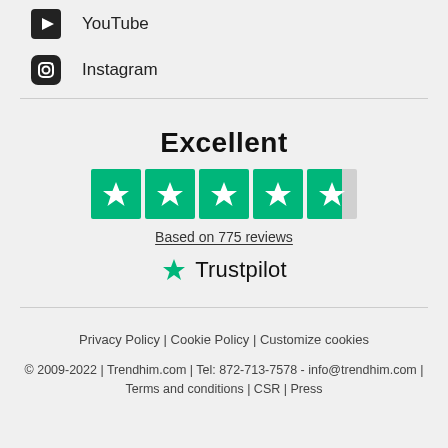YouTube
Instagram
[Figure (infographic): Trustpilot Excellent rating: 4.5 stars based on 775 reviews]
Privacy Policy | Cookie Policy | Customize cookies
© 2009-2022 | Trendhim.com | Tel: 872-713-7578 - info@trendhim.com | Terms and conditions | CSR | Press